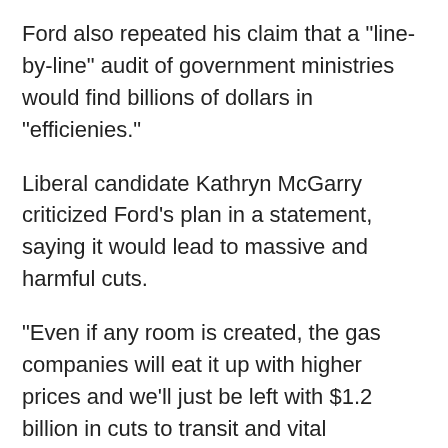Ford also repeated his claim that a "line-by-line" audit of government ministries would find billions of dollars in "efficienies."
Liberal candidate Kathryn McGarry criticized Ford's plan in a statement,  saying it would lead to massive and harmful cuts.
"Even if any room is created, the gas companies will eat it up with higher prices and we'll just be left with $1.2 billion in cuts to transit and vital services," McGarry said.
Currently, municipalities in Ontario receive two cents per litre on all the gas that is taxed under the provincial fuel tax to help fund their public transit